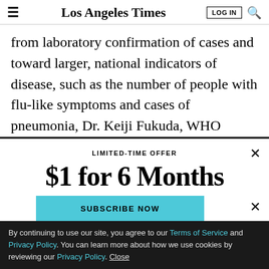Los Angeles Times
from laboratory confirmation of cases and toward larger, national indicators of disease, such as the number of people with flu-like symptoms and cases of pneumonia, Dr. Keiji Fukuda, WHO assistant director-general, said Tuesday in a telephone news conference.
LIMITED-TIME OFFER
$1 for 6 Months
SUBSCRIBE NOW
By continuing to use our site, you agree to our Terms of Service and Privacy Policy. You can learn more about how we use cookies by reviewing our Privacy Policy. Close